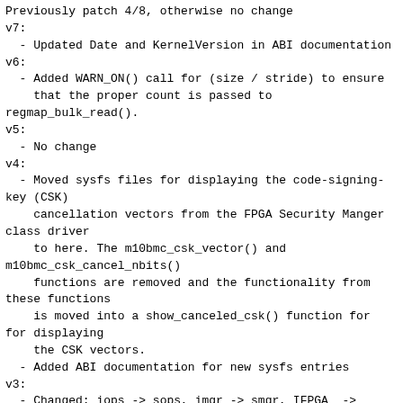Previously patch 4/8, otherwise no change
v7:
  - Updated Date and KernelVersion in ABI documentation
v6:
  - Added WARN_ON() call for (size / stride) to ensure
    that the proper count is passed to
regmap_bulk_read().
v5:
  - No change
v4:
  - Moved sysfs files for displaying the code-signing-
key (CSK)
    cancellation vectors from the FPGA Security Manger
class driver
    to here. The m10bmc_csk_vector() and
m10bmc_csk_cancel_nbits()
    functions are removed and the functionality from
these functions
    is moved into a show_canceled_csk() function for
for displaying
    the CSK vectors.
  - Added ABI documentation for new sysfs entries
v3:
  - Changed: iops -> sops, imgr -> smgr, IFPGA_ ->
FPGA_, ifpga_ to fpga_
  - Changed "MAX10 BMC Secure Engine driver" to "MAX10
BMC Secure Update
    driver"
  - Removed wrapper functions (m10bmc_raw_*,
m10bmc_sys_*). The
    underlying functions are now called directly